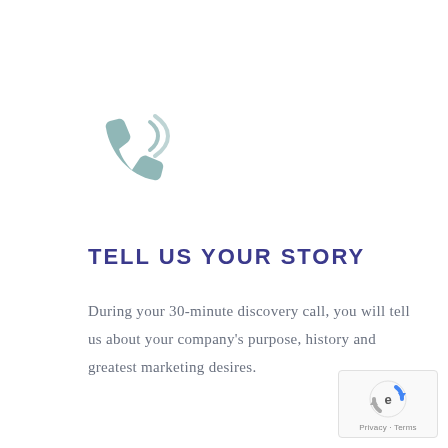[Figure (illustration): Phone handset icon with sound waves, in muted teal/blue-grey color]
TELL US YOUR STORY
During your 30-minute discovery call, you will tell us about your company's purpose, history and greatest marketing desires.
[Figure (logo): reCAPTCHA badge with Privacy and Terms links]